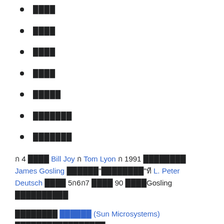████
████
████
████
█████
███████
███████
ก 4 ████ Bill Joy ก Tom Lyon ก 1991 ████████ James Gosling ██████"████████"ที L. Peter Deutsch ████ 5ก6ก7 ████ 90 ████Gosling ██████████
████████ ██████ (Sun Microsystems) █████████████████
████████████████████████████████████████████████████████████████████████████